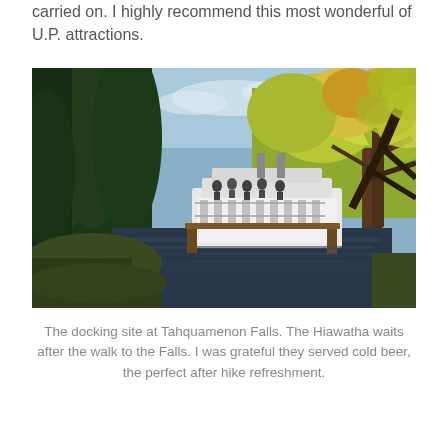carried on. I highly recommend this most wonderful of U.P. attractions.
[Figure (photo): A riverboat (the Hiawatha) docked at the Tahquamenon Falls docking site, surrounded by dense forest with autumn foliage in shades of green and yellow, reflected in dark river water.]
The docking site at Tahquamenon Falls. The Hiawatha waits after the walk to the Falls. I was grateful they served cold beer, the perfect after hike refreshment.